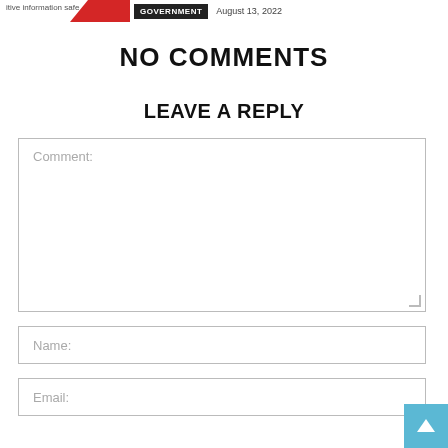itive information safe   GOVERNMENT   August 13, 2022
NO COMMENTS
LEAVE A REPLY
Comment:
Name:
Email: